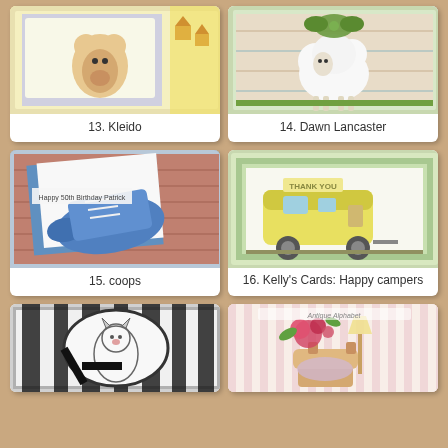[Figure (photo): Craft card #13 by Kleido - handmade greeting card with teddy bear on yellow and grey patterned background]
13. Kleido
[Figure (photo): Craft card #14 by Dawn Lancaster - handmade greeting card with white lamb and green bow on plaid background]
14. Dawn Lancaster
[Figure (photo): Craft card #15 by coops - handmade birthday card with blue sneakers on checked background with 'Happy 50th Birthday Patrick' text]
15. coops
[Figure (photo): Craft card #16 by Kelly's Cards - handmade card with yellow vintage camper trailer on green background with 'Thank You' text]
16. Kelly's Cards: Happy campers
[Figure (photo): Craft card #17 - handmade card with zebra print background and oval frame with tiger/cat sketch and black ribbon]
[Figure (photo): Craft card #18 - handmade card with pink striped background, roses, armchair and lamp vignette]